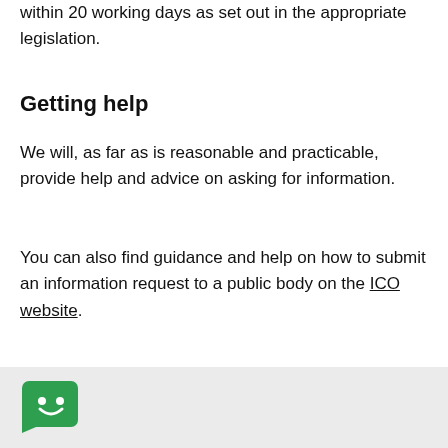within 20 working days as set out in the appropriate legislation.
Getting help
We will, as far as is reasonable and practicable, provide help and advice on asking for information.
You can also find guidance and help on how to submit an information request to a public body on the ICO website.
[Figure (illustration): Green chat/message icon with a smiley face on a light grey background box]